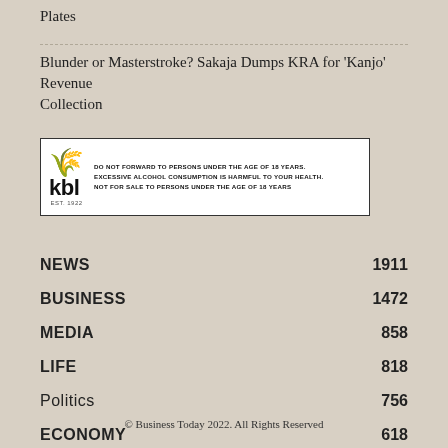Plates
Blunder or Masterstroke? Sakaja Dumps KRA for 'Kanjo' Revenue Collection
[Figure (logo): KBL logo advertisement with health warning text: DO NOT FORWARD TO PERSONS UNDER THE AGE OF 18 YEARS. EXCESSIVE ALCOHOL CONSUMPTION IS HARMFUL TO YOUR HEALTH. NOT FOR SALE TO PERSONS UNDER THE AGE OF 18 YEARS]
NEWS    1911
BUSINESS    1472
MEDIA    858
LIFE    818
Politics    756
ECONOMY    618
© Business Today 2022. All Rights Reserved